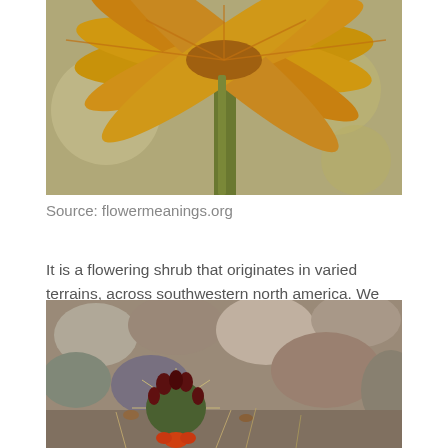[Figure (photo): Close-up photograph of a yellow flower from below, showing petals and stem against a blurred background]
Source: flowermeanings.org
It is a flowering shrub that originates in varied terrains, across southwestern north america. We have undertaken the difficult task and created the following list of over 25 flowers that start with letter m.
[Figure (photo): Photograph of a small cactus with dark red buds and one orange-red flower, surrounded by smooth rounded rocks on sandy ground]